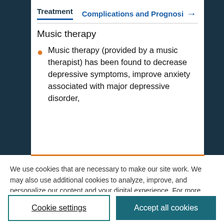Treatment    Complications and Prognosi →
Music therapy
Music therapy (provided by a music therapist) has been found to decrease depressive symptoms, improve anxiety associated with major depressive disorder,
We use cookies that are necessary to make our site work. We may also use additional cookies to analyze, improve, and personalize our content and your digital experience. For more information, see our Cookie Policy
Cookie settings
Accept all cookies